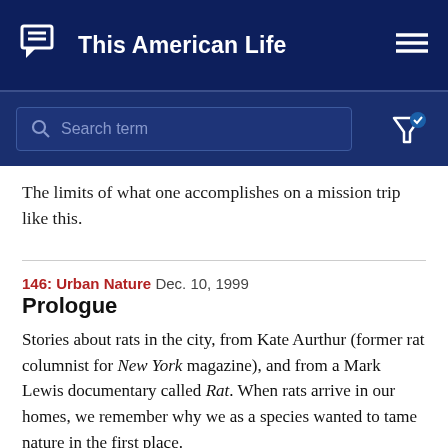This American Life
[Figure (screenshot): Search bar with magnifying glass icon and placeholder text 'Search term', with filter icon to the right]
The limits of what one accomplishes on a mission trip like this.
146: Urban Nature  Dec. 10, 1999
Prologue
Stories about rats in the city, from Kate Aurthur (former rat columnist for New York magazine), and from a Mark Lewis documentary called Rat. When rats arrive in our homes, we remember why we as a species wanted to tame nature in the first place.